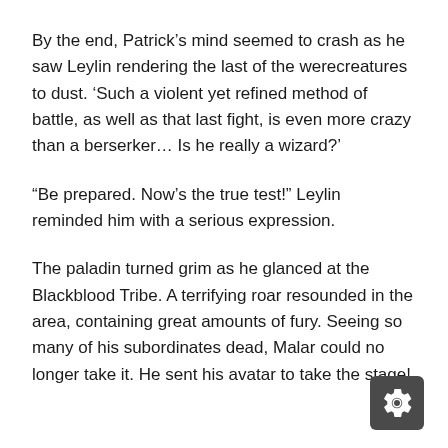By the end, Patrick's mind seemed to crash as he saw Leylin rendering the last of the werecreatures to dust. 'Such a violent yet refined method of battle, as well as that last fight, is even more crazy than a berserker... Is he really a wizard?'
“Be prepared. Now’s the true test!” Leylin reminded him with a serious expression.
The paladin turned grim as he glanced at the Blackblood Tribe. A terrifying roar resounded in the area, containing great amounts of fury. Seeing so many of his subordinates dead, Malar could no longer take it. He sent his avatar to take the stage!
[Figure (other): Gear/settings icon button in dark grey rounded square, bottom right corner]